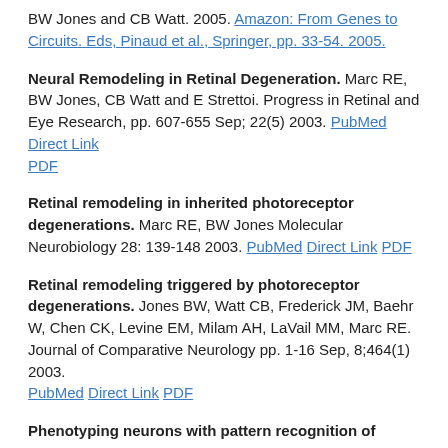BW Jones and CB Watt. 2005. Amazon: From Genes to Circuits. Eds, Pinaud et al., Springer, pp. 33-54. 2005.
Neural Remodeling in Retinal Degeneration. Marc RE, BW Jones, CB Watt and E Strettoi. Progress in Retinal and Eye Research, pp. 607-655 Sep; 22(5) 2003. PubMed Direct Link PDF
Retinal remodeling in inherited photoreceptor degenerations. Marc RE, BW Jones Molecular Neurobiology 28: 139-148 2003. PubMed Direct Link PDF
Retinal remodeling triggered by photoreceptor degenerations. Jones BW, Watt CB, Frederick JM, Baehr W, Chen CK, Levine EM, Milam AH, LaVail MM, Marc RE. Journal of Comparative Neurology pp. 1-16 Sep, 8;464(1) 2003. PubMed Direct Link PDF
Phenotyping neurons with pattern recognition of